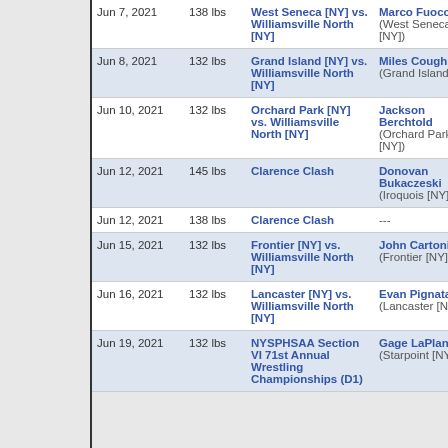| Date | Weight | Event | Winner |
| --- | --- | --- | --- |
| Jun 7, 2021 | 138 lbs | West Seneca [NY] vs. Williamsville North [NY] | Marco Fuoco (West Seneca [NY]) |
| Jun 8, 2021 | 132 lbs | Grand Island [NY] vs. Williamsville North [NY] | Miles Coughlin (Grand Island [NY]) |
| Jun 10, 2021 | 132 lbs | Orchard Park [NY] vs. Williamsville North [NY] | Jackson Berchtold (Orchard Park [NY]) |
| Jun 12, 2021 | 145 lbs | Clarence Clash | Donovan Bukaczeski (Iroquois [NY]) |
| Jun 12, 2021 | 138 lbs | Clarence Clash | --- |
| Jun 15, 2021 | 132 lbs | Frontier [NY] vs. Williamsville North [NY] | John Cartonia (Frontier [NY]) |
| Jun 16, 2021 | 132 lbs | Lancaster [NY] vs. Williamsville North [NY] | Evan Pignataro (Lancaster [NY]) |
| Jun 19, 2021 | 132 lbs | NYSPHSAA Section VI 71st Annual Wrestling Championships (D1) | Gage LaPlante (Starpoint [NY]) |